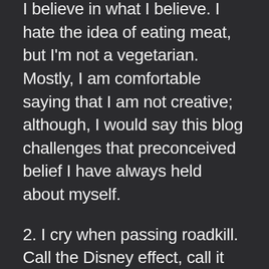I believe in what I believe. I hate the idea of eating meat, but I'm not a vegetarian. Mostly, I am comfortable saying that I am not creative; although, I would say this blog challenges that preconceived belief I have always held about myself.
2. I cry when passing roadkill. Call the Disney effect, call it PMS, call it insanity, I just get so upset thinking about the mama deer and the baby deer, no longer having the papa deer. (Also applies to squirrel, rabbit, turkey, fox, coyote, and hawk families). I'm 27 years old, and I still buy into this whole, animal-family dynamic concept. The circle of life means nothing when my feelings are involved. Overpopulation also isn't a good argument to make to me, even if it's logical. I will still be sad, it's just my way of life.